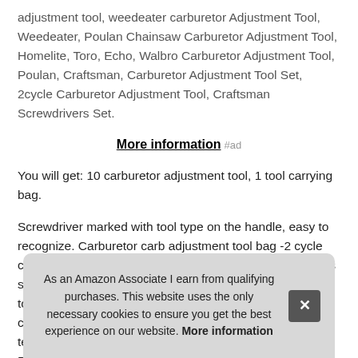adjustment tool, weedeater carburetor Adjustment Tool, Weedeater, Poulan Chainsaw Carburetor Adjustment Tool, Homelite, Toro, Echo, Walbro Carburetor Adjustment Tool, Poulan, Craftsman, Carburetor Adjustment Tool Set, 2cycle Carburetor Adjustment Tool, Craftsman Screwdrivers Set.
More information #ad
You will get: 10 carburetor adjustment tool, 1 tool carrying bag.
Screwdriver marked with tool type on the handle, easy to recognize. Carburetor carb adjustment tool bag -2 cycle carburetor adjustment tool Set - made of durable stainless stee[...] to a[...] carb[...] teet[...] Pac[...]
As an Amazon Associate I earn from qualifying purchases. This website uses the only necessary cookies to ensure you get the best experience on our website. More information